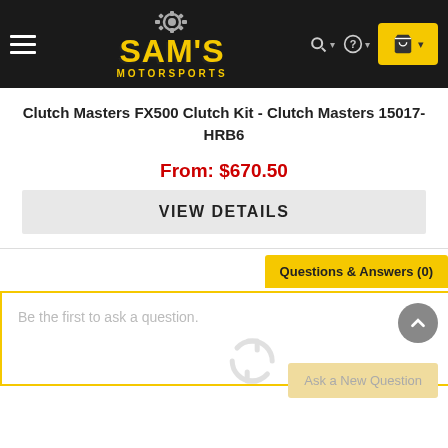[Figure (logo): Sam's Motorsports logo with gear icon and yellow text on dark background navigation bar with hamburger menu, search, help, and cart icons]
Clutch Masters FX500 Clutch Kit - Clutch Masters 15017-HRB6
From: $670.50
VIEW DETAILS
Questions & Answers (0)
Be the first to ask a question.
Ask a New Question